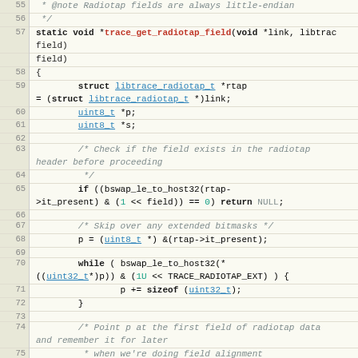[Figure (screenshot): Source code listing showing C function trace_get_radiotap_field, lines 55-82, with syntax highlighting in a code editor style layout with line numbers.]